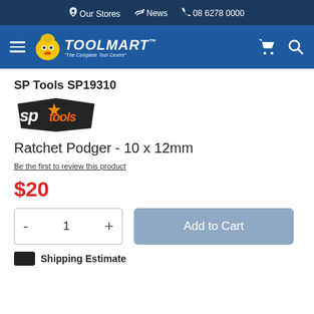Our Stores  News  08 6278 0000
[Figure (logo): Toolmart logo with hamburger menu, cart and search icons on blue navigation bar]
SP Tools SP19310
[Figure (logo): SP Tools brand logo]
Ratchet Podger - 10 x 12mm
Be the first to review this product
$20
Quantity: 1  Add to Cart
Shipping Estimate